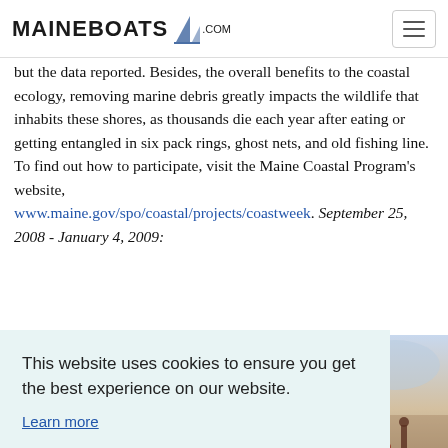MaineBoats.com
but the data reported. Besides, the overall benefits to the coastal ecology, removing marine debris greatly impacts the wildlife that inhabits these shores, as thousands die each year after eating or getting entangled in six pack rings, ghost nets, and old fishing line. To find out how to participate, visit the Maine Coastal Program's website, www.maine.gov/spo/coastal/projects/coastweek. September 25, 2008 - January 4, 2009:
This website uses cookies to ensure you get the best experience on our website.
Learn more
Got it!
[Figure (photo): A partial view of a painting or photograph showing a figure on what appears to be a coastal or waterfront scene]
the setting of stake-based coral lights to this all-important...